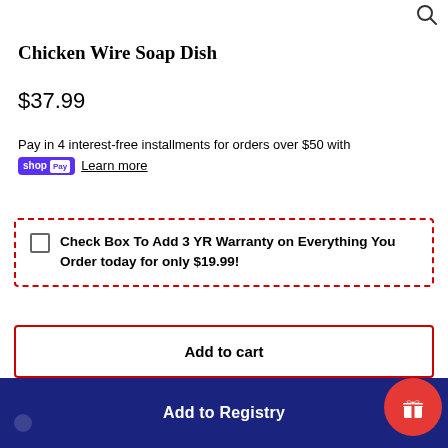[Figure (other): Search magnifying glass icon in top right corner]
Chicken Wire Soap Dish
$37.99
Pay in 4 interest-free installments for orders over $50 with shop Pay  Learn more
Check Box To Add 3 YR Warranty on Everything You Order today for only $19.99!
Add to cart
Add to Registry